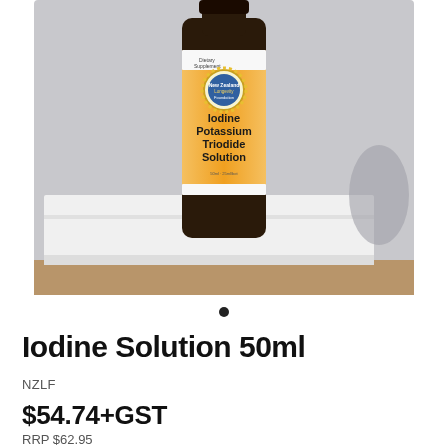[Figure (photo): A dark glass bottle of Iodine Potassium Triodide Solution with an orange and white label, sitting on a white box. The label shows 'New Zealand Longevity Foundation' logo and text 'Iodine Potassium Triodide Solution'. The bottom of the image shows a box labelled 'Collagen'.]
Iodine Solution 50ml
NZLF
$54.74+GST
RRP $62.95